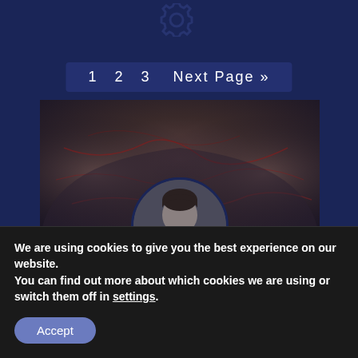[Figure (other): Gear/settings icon at top center of dark navy background]
1  2  3   Next Page »
[Figure (photo): Wide banner photo of rocky/cave-like texture in dark reddish-grey tones, with a circular portrait photo of a young man with dark hair wearing a dark jacket overlaid at the center-bottom]
We are using cookies to give you the best experience on our website.
You can find out more about which cookies we are using or switch them off in settings.
Accept